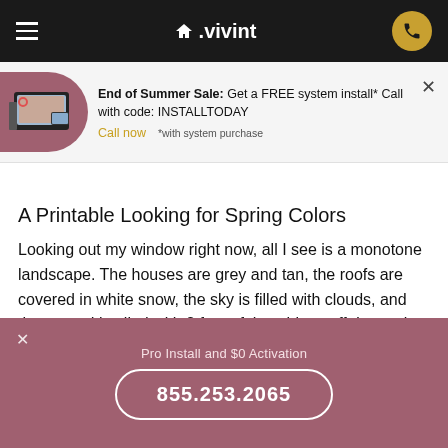Vivint navigation bar with hamburger menu, Vivint logo, and phone button
End of Summer Sale: Get a FREE system install* Call with code: INSTALLTODAY
Call now   *with system purchase
A Printable Looking for Spring Colors
Looking out my window right now, all I see is a monotone landscape. The houses are grey and tan, the roofs are covered in white snow, the sky is filled with clouds, and the ground is piled with 2 feet of the white stuff. It may be brisk and clean and sparkling in the winter sun, but it's still . . . lacking.
Pro Install and $0 Activation
855.253.2065